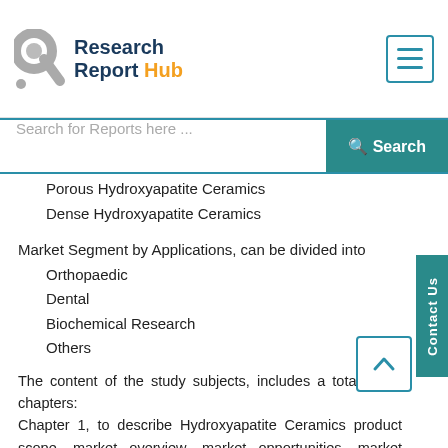Research Report Hub
Porous Hydroxyapatite Ceramics
Dense Hydroxyapatite Ceramics
Market Segment by Applications, can be divided into
Orthopaedic
Dental
Biochemical Research
Others
The content of the study subjects, includes a total of 15 chapters:
Chapter 1, to describe Hydroxyapatite Ceramics product scope, market overview, market opportunities, market driving force and market risks.
Chapter 2, to profile the top manufacturers of